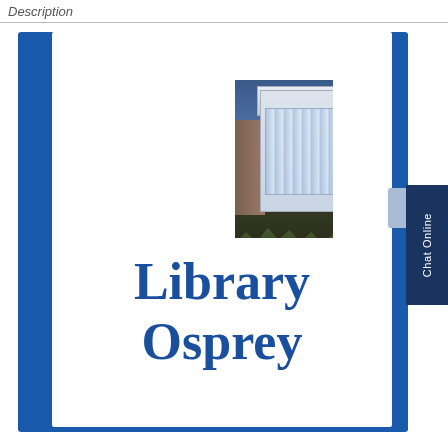Description
[Figure (photo): Exterior photo of a modern library building at dusk with glass facade and illuminated interior, grasses in foreground]
Library Osprey